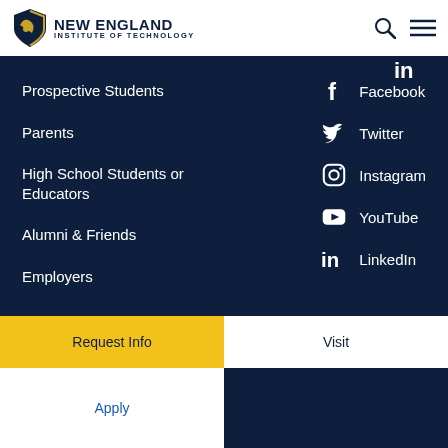NEW ENGLAND INSTITUTE OF TECHNOLOGY
Prospective Students
Parents
High School Students or Educators
Alumni & Friends
Employers
Facebook
Twitter
Instagram
YouTube
LinkedIn
Request Info
Visit
Apply